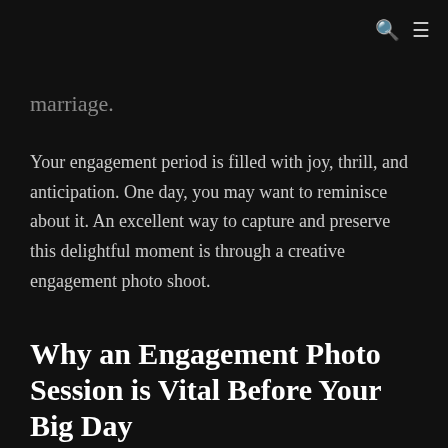🔍 ≡
marriage.
Your engagement period is filled with joy, thrill, and anticipation. One day, you may want to reminisce about it. An excellent way to capture and preserve this delightful moment is through a creative engagement photo shoot.
Why an Engagement Photo Session is Vital Before Your Big Day